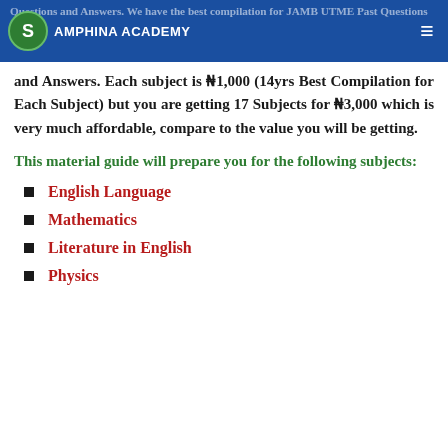Questions and Answers. We have the best compilation for JAMB UTME Past Questions
and Answers. Each subject is ₦1,000 (14yrs Best Compilation for Each Subject) but you are getting 17 Subjects for ₦3,000 which is very much affordable, compare to the value you will be getting.
This material guide will prepare you for the following subjects:
English Language
Mathematics
Literature in English
Physics